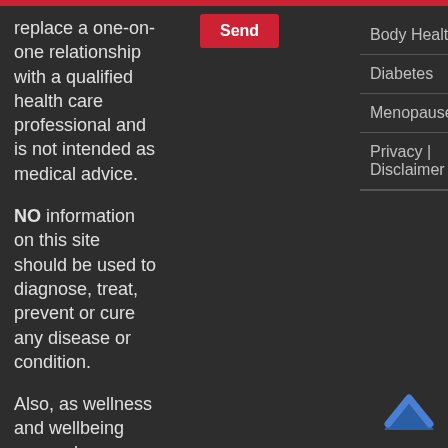replace a one-on-one relationship with a qualified health care professional and is not intended as medical advice.
NO information on this site should be used to diagnose, treat, prevent or cure any disease or condition.
Also, as wellness and wellbeing research continuously evolves, we do not guarantee the accuracy or
Body Health
Diabetes
Menopause
Privacy | Disclaimer